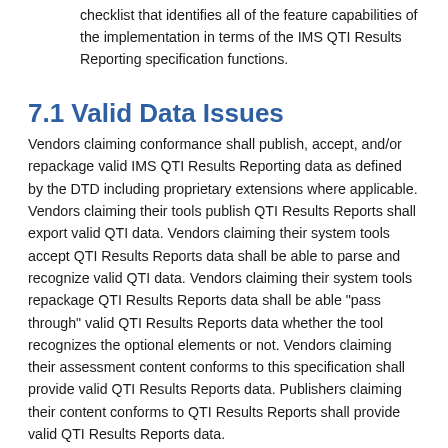checklist that identifies all of the feature capabilities of the implementation in terms of the IMS QTI Results Reporting specification functions.
7.1 Valid Data Issues
Vendors claiming conformance shall publish, accept, and/or repackage valid IMS QTI Results Reporting data as defined by the DTD including proprietary extensions where applicable. Vendors claiming their tools publish QTI Results Reports shall export valid QTI data. Vendors claiming their system tools accept QTI Results Reports data shall be able to parse and recognize valid QTI data. Vendors claiming their system tools repackage QTI Results Reports data shall be able "pass through" valid QTI Results Reports data whether the tool recognizes the optional elements or not. Vendors claiming their assessment content conforms to this specification shall provide valid QTI Results Reports data. Publishers claiming their content conforms to QTI Results Reports shall provide valid QTI Results Reports data.
7.2 ...